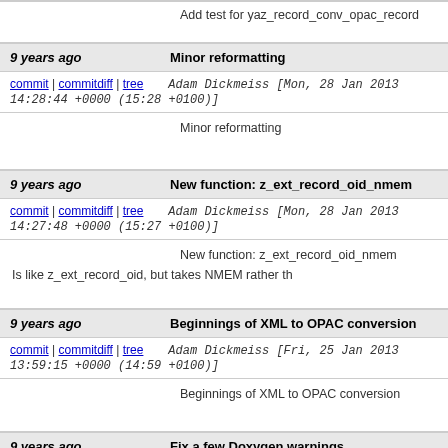Add test for yaz_record_conv_opac_record
9 years ago   Minor reformatting
commit | commitdiff | tree   Adam Dickmeiss [Mon, 28 Jan 2013 14:28:44 +0000 (15:28 +0100)]
Minor reformatting
9 years ago   New function: z_ext_record_oid_nmem
commit | commitdiff | tree   Adam Dickmeiss [Mon, 28 Jan 2013 14:27:48 +0000 (15:27 +0100)]
New function: z_ext_record_oid_nmem
Is like z_ext_record_oid, but takes NMEM rather th
9 years ago   Beginnings of XML to OPAC conversion
commit | commitdiff | tree   Adam Dickmeiss [Fri, 25 Jan 2013 13:59:15 +0000 (14:59 +0100)]
Beginnings of XML to OPAC conversion
9 years ago   Fix a few Doxygen warnings